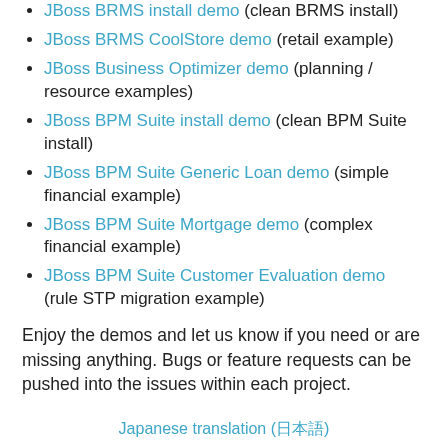JBoss BRMS install demo (clean BRMS install)
JBoss BRMS CoolStore demo (retail example)
JBoss Business Optimizer demo (planning / resource examples)
JBoss BPM Suite install demo (clean BPM Suite install)
JBoss BPM Suite Generic Loan demo (simple financial example)
JBoss BPM Suite Mortgage demo (complex financial example)
JBoss BPM Suite Customer Evaluation demo (rule STP migration example)
Enjoy the demos and let us know if you need or are missing anything. Bugs or feature requests can be pushed into the issues within each project.
Japanese translation (日本語)